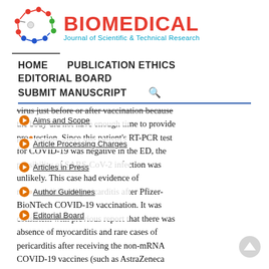[Figure (logo): Biomedical Journal of Scientific & Technical Research logo with molecular structure graphic in red, blue and green, and red BIOMEDICAL text with teal subtitle]
HOME   PUBLICATION ETHICS   EDITORIAL BOARD   SUBMIT MANUSCRIPT
Aims and Scope
Article Processing Charges
Articles in Press
Author Guidelines
Editorial Board
virus just before or after vaccination because the body did not have enough time to provide protection. Since this patient's RT-PCR test for COVID-19 was negative in the ED, the possibility of SARS-CoV-2 infection was unlikely. This case had evidence of myocarditis and pericarditis after Pfizer-BioNTech COVID-19 vaccination. It was consistent with previous report that there was absence of myocarditis and rare cases of pericarditis after receiving the non-mRNA COVID-19 vaccines (such as AstraZeneca